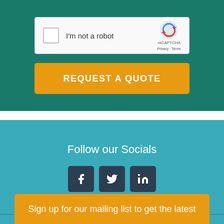[Figure (screenshot): reCAPTCHA widget showing checkbox, 'I'm not a robot' text, and reCAPTCHA logo with Privacy and Terms links]
REQUEST A QUOTE
Follow our Socials
[Figure (other): Social media icons for Facebook, Twitter, and LinkedIn]
Sign up for our mailing list to get the latest